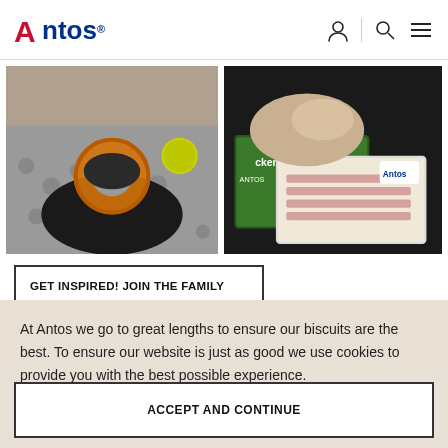Antos® [navigation icons: user, search, menu]
[Figure (photo): A dog chewing on a ring-shaped orange chew treat, lying on a grey fluffy rug with a yellow tennis ball in the background.]
[Figure (photo): Antos branded dog treat packaging including chicken-flavored treats and sticks arranged on a dark surface, with a small dog sniffing them.]
GET INSPIRED! JOIN THE FAMILY
At Antos we go to great lengths to ensure our biscuits are the best. To ensure our website is just as good we use cookies to provide you with the best possible experience. More information on the use of cookies on this website.
ACCEPT AND CONTINUE